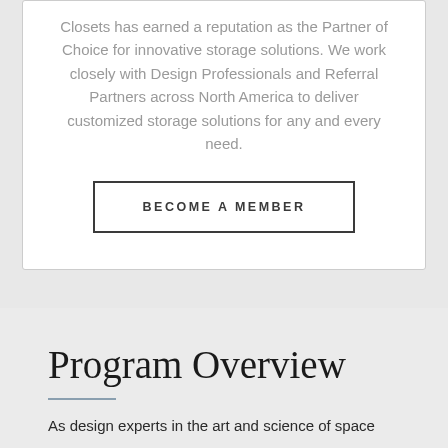Closets has earned a reputation as the Partner of Choice for innovative storage solutions. We work closely with Design Professionals and Referral Partners across North America to deliver customized storage solutions for any and every need.
BECOME A MEMBER
Program Overview
As design experts in the art and science of space